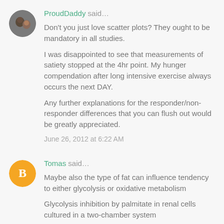ProudDaddy said…
Don't you just love scatter plots? They ought to be mandatory in all studies.

I was disappointed to see that measurements of satiety stopped at the 4hr point. My hunger compendation after long intensive exercise always occurs the next DAY.

Any further explanations for the responder/non-responder differences that you can flush out would be greatly appreciated.
June 26, 2012 at 6:22 AM
Tomas said…
Maybe also the type of fat can influence tendency to either glycolysis or oxidative metabolism

Glycolysis inhibition by palmitate in renal cells cultured in a two-chamber system